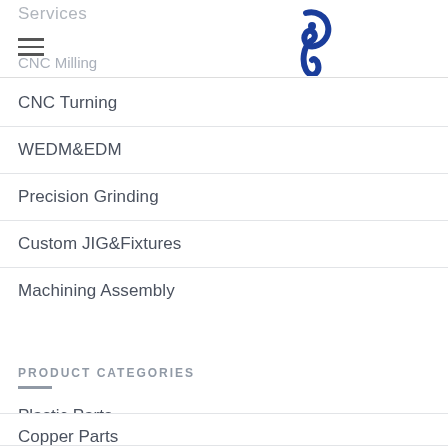Services / CNC Milling
[Figure (logo): Blue stylized logo mark resembling an abstract figure or letter, dark blue color]
CNC Turning
WEDM&EDM
Precision Grinding
Custom JIG&Fixtures
Machining Assembly
PRODUCT CATEGORIES
Plastic Parts
Copper Parts
Aluminum Parts